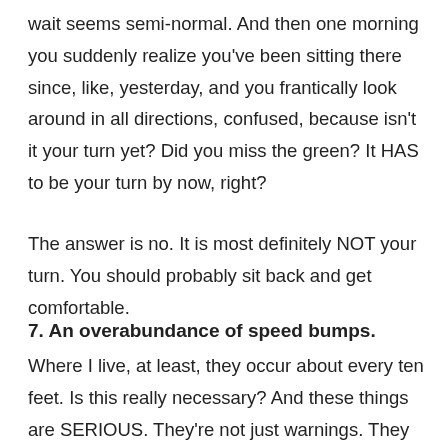wait seems semi-normal. And then one morning you suddenly realize you've been sitting there since, like, yesterday, and you frantically look around in all directions, confused, because isn't it your turn yet? Did you miss the green? It HAS to be your turn by now, right?
The answer is no. It is most definitely NOT your turn. You should probably sit back and get comfortable.
7. An overabundance of speed bumps.
Where I live, at least, they occur about every ten feet. Is this really necessary? And these things are SERIOUS. They're not just warnings. They will rip the entire underbelly of your car right off unless you slow the hell down to approximately zero miles an hour.